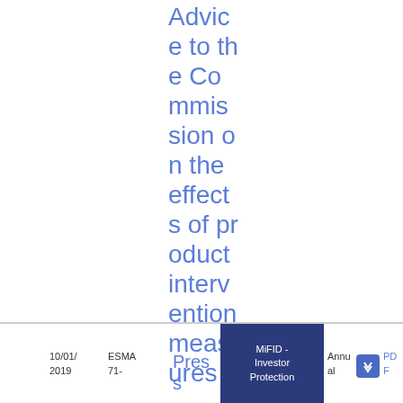Advice to the Commission on the effects of product intervention measures
10/01/2019  ESMA 71-  Pres  MiFID - Investor Protection  Annu al  PDF